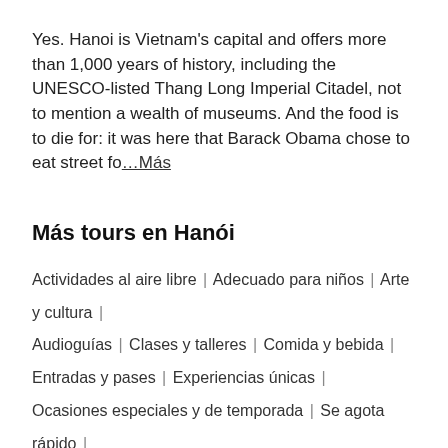Yes. Hanoi is Vietnam's capital and offers more than 1,000 years of history, including the UNESCO-listed Thang Long Imperial Citadel, not to mention a wealth of museums. And the food is to die for: it was here that Barack Obama chose to eat street fo… ...Más
Más tours en Hanói
Actividades al aire libre | Adecuado para niños | Arte y cultura | Audioguías | Clases y talleres | Comida y bebida | Entradas y pases | Experiencias únicas | Ocasiones especiales y de temporada | Se agota rápido | Servicios de viaje y de transporte | Tours, visitas turísticas y cruceros